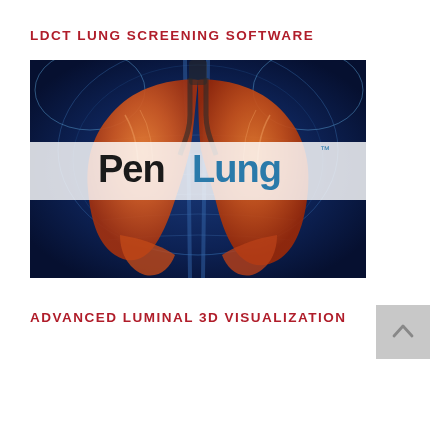LDCT LUNG SCREENING SOFTWARE
[Figure (photo): Medical illustration of human lungs highlighted in orange/red against a blue X-ray style background of a human torso, with a semi-transparent banner overlaid showing the PenLung logo (Pen in black text, Lung in teal/blue text) with a TM superscript.]
ADVANCED LUMINAL 3D VISUALIZATION